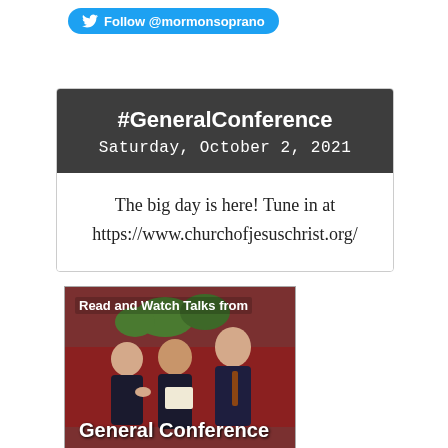[Figure (screenshot): Twitter Follow button for @mormonsoprano]
[Figure (screenshot): Card with dark header showing #GeneralConference Saturday, October 2, 2021 and white body with text: The big day is here! Tune in at https://www.churchofjesuschrist.org/]
[Figure (photo): Photo of men at General Conference with overlay text 'Read and Watch Talks from' and 'General Conference']